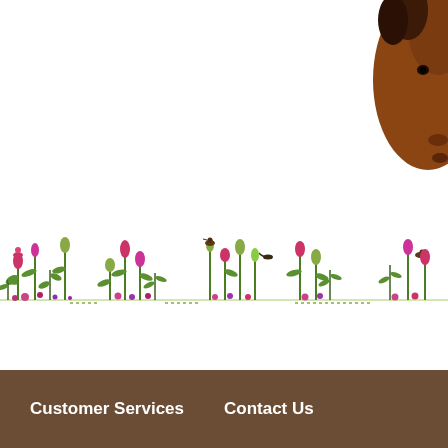[Figure (illustration): Partial view of a brown horse head in the top-right corner of the page]
[Figure (illustration): A decorative horizontal strip of illustrated wildflowers, plants, and small birds (sparrows) in pinks, greens, and earth tones across the full width of the page]
Customer Services    Contact Us